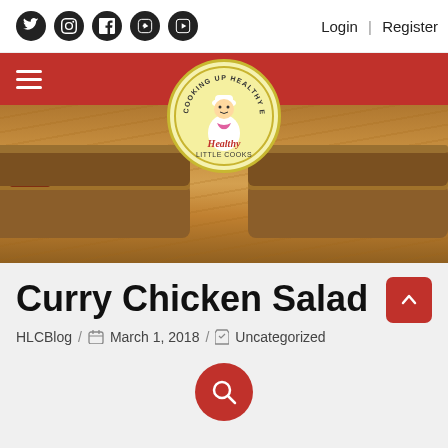Social icons: Twitter, Pinterest, Facebook, Instagram, YouTube | Login | Register
[Figure (screenshot): Red navigation bar with hamburger menu and Healthy Little Cooks logo circle overlay over hero sandwich image on wooden cutting board]
Curry Chicken Salad
HLCBlog / March 1, 2018 / Uncategorized